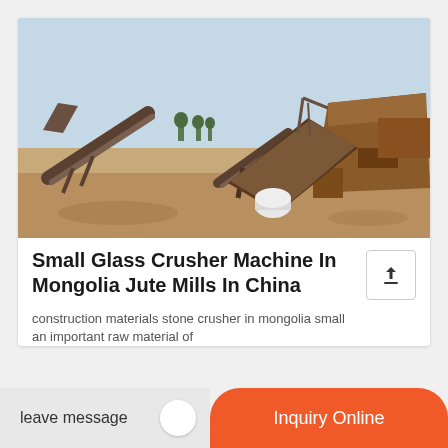[Figure (photo): Outdoor industrial mining/crushing site with conveyor belts, metal structures, and machinery on a sandy/dirt ground. Overcast sky in the background with distant trees and structures.]
Small Glass Crusher Machine In Mongolia Jute Mills In China
construction materials stone crusher in mongolia small an important raw material of